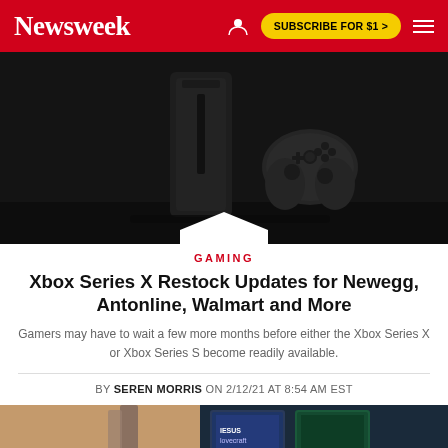Newsweek — SUBSCRIBE FOR $1 >
[Figure (photo): Xbox Series X console and controller on dark background]
GAMING
Xbox Series X Restock Updates for Newegg, Antonline, Walmart and More
Gamers may have to wait a few more months before either the Xbox Series X or Xbox Series S become readily available.
BY SEREN MORRIS ON 2/12/21 AT 8:54 AM EST
[Figure (photo): Xbox game library displayed on screen, partial view]